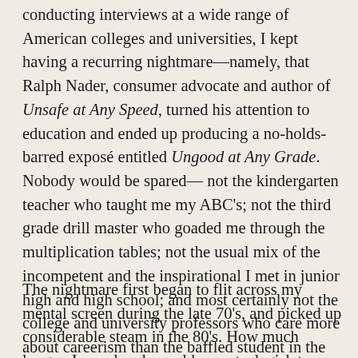conducting interviews at a wide range of American colleges and universities, I kept having a recurring nightmare—namely, that Ralph Nader, consumer advocate and author of Unsafe at Any Speed, turned his attention to education and ended up producing a no-holds-barred exposé entitled Ungood at Any Grade. Nobody would be spared— not the kindergarten teacher who taught me my ABC's; not the third grade drill master who goaded me through the multiplication tables; not the usual mix of the incompetent and the inspirational I met in junior high and high school; and most certainly not the college and university professors who care more about careerism than the baffled student in the sixth row.
The nightmare first began to flit across my mental screen during the late 70's, and picked up considerable steam in the 80's. How much longer, I wondered, would parents, legislators, and the public at large put up with a higher